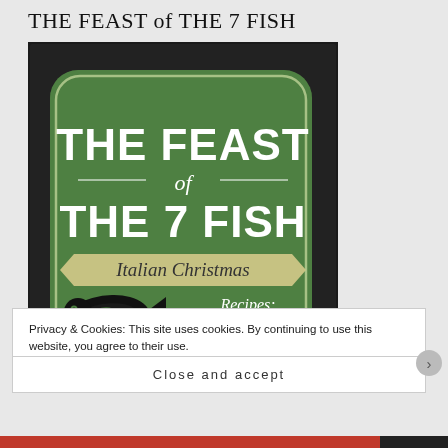THE FEAST of THE 7 FISH
[Figure (illustration): Book cover for 'The Feast of the 7 Fish' featuring green vintage label design with large white bold text 'THE FEAST of THE 7 FISH', script text 'Italian Christmas Recipes:', and recipe names listed: SEAFOOD SALAD, MUSSELS MARINARA, CLAMS POSILLIPO, with a black fish illustration on the left side, on a dark textured background.]
Privacy & Cookies: This site uses cookies. By continuing to use this website, you agree to their use.
To find out more, including how to control cookies, see here: Cookie Policy
Close and accept